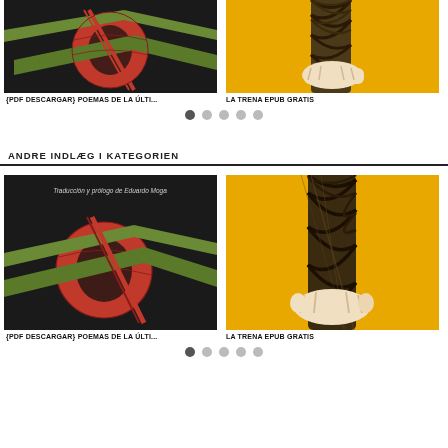[Figure (illustration): Book cover with black background, red globe, green leaves, and red diagonal slash]
[Figure (illustration): Yellow background with hands braiding dark hair]
{PDF DESCARGAR} POEMAS DE LA ÚLTI...
LA TRENA EPUB GRATIS
ANDRE INDLÆG I KATEGORIEN
[Figure (illustration): Book cover with black background, red globe, green leaves, red diagonal slash, and text Traducción y prólogo de Eduardo Moga]
[Figure (illustration): Yellow background with hands braiding dark hair]
{PDF DESCARGAR} POEMAS DE LA ÚLTI...
LA TRENA EPUB GRATIS